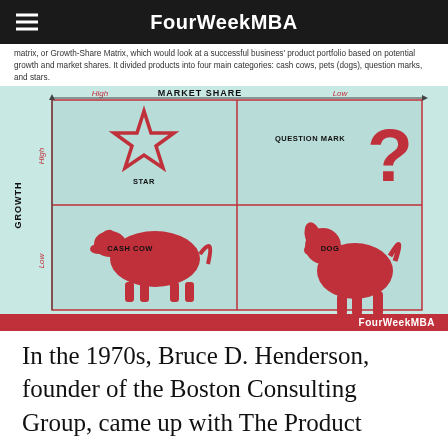FourWeekMBA
matrix, or Growth-Share Matrix, which would look at a successful business' product portfolio based on potential growth and market shares. It divided products into four main categories: cash cows, pets (dogs), question marks, and stars.
[Figure (infographic): BCG Growth-Share Matrix with four quadrants: Star (high growth, high market share), Question Mark (high growth, low market share), Cash Cow (low growth, high market share), Dog (low growth, low market share). Y-axis labeled GROWTH with High/Low, X-axis labeled MARKET SHARE with High/Low. Light blue background, red icons and borders. FourWeekMBA watermark at bottom.]
In the 1970s, Bruce D. Henderson, founder of the Boston Consulting Group, came up with The Product